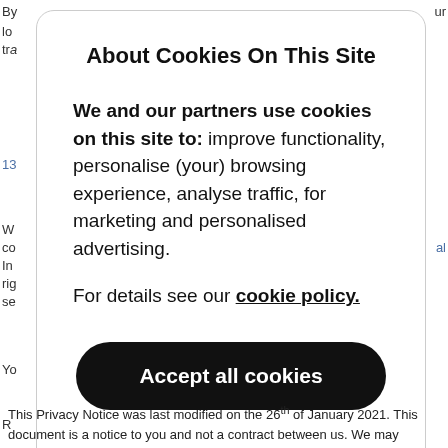By ur lo tra
13
W co In rig se
Yo
R
8
S
14
About Cookies On This Site
We and our partners use cookies on this site to: improve functionality, personalise (your) browsing experience, analyse traffic, for marketing and personalised advertising.
For details see our cookie policy.
Accept all cookies
This Privacy Notice was last modified on the 26th of January 2021. This document is a notice to you and not a contract between us. We may